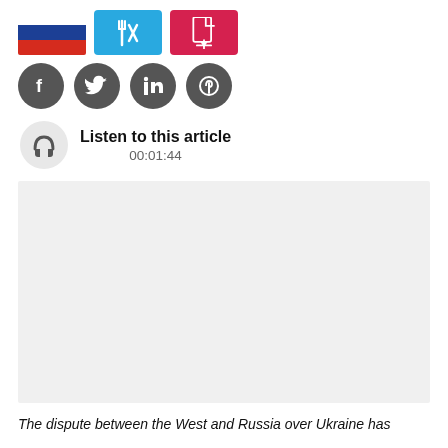[Figure (other): Row of icon buttons: Russian flag, blue X/fork-knife icon button, red PDF icon button]
[Figure (other): Row of social media circular icons: Facebook, Twitter, LinkedIn, Pinterest]
[Figure (other): Headphones icon with Listen to this article text and duration 00:01:44]
[Figure (photo): Light gray image placeholder box]
The dispute between the West and Russia over Ukraine has